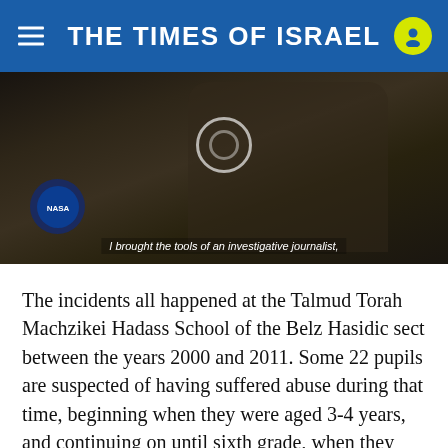THE TIMES OF ISRAEL
[Figure (screenshot): Dark video frame showing a person sitting at a desk in a dimly lit room, with subtitle text: 'I brought the tools of an investigative journalist,']
The incidents all happened at the Talmud Torah Machzikei Hadass School of the Belz Hasidic sect between the years 2000 and 2011. Some 22 pupils are suspected of having suffered abuse during that time, beginning when they were aged 3-4 years, and continuing on until sixth grade, when they were around 10-11 years old.